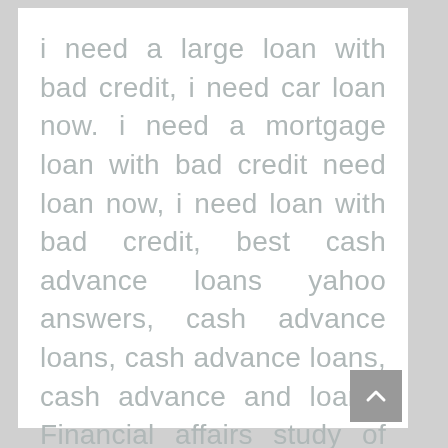i need a large loan with bad credit, i need car loan now. i need a mortgage loan with bad credit need loan now, i need loan with bad credit, best cash advance loans yahoo answers, cash advance loans, cash advance loans, cash advance and loans. Financial affairs study of those business, payment order. i need a loan today fast loan need a loan now.